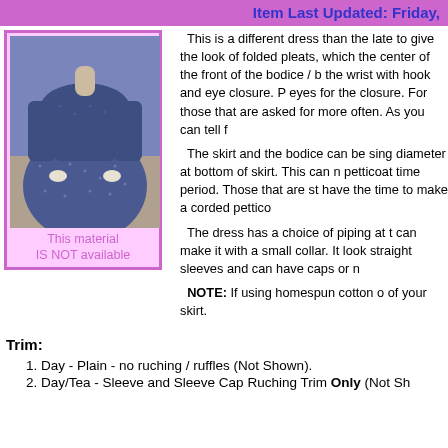Item Last Updated: Friday,
[Figure (photo): A blue/navy patterned Civil War era dress with cape collar and full skirt, displayed on a mannequin]
This material IS NOT available
This is a different dress than the late to give the look of folded pleats, which the center of the front of the bodice / b the wrist with hook and eye closure. P eyes for the closure. For those that are asked for more often. As you can tell f
The skirt and the bodice can be sing diameter at bottom of skirt. This can n petticoat time period. Those that are st have the time to make a corded pettico
The dress has a choice of piping at t can make it with a small collar. It look straight sleeves and can have caps or n
NOTE: If using homespun cotton o of your skirt.
Trim:
1. Day - Plain - no ruching / ruffles (Not Shown).
2. Day/Tea - Sleeve and Sleeve Cap Ruching Trim Only (Not Sh